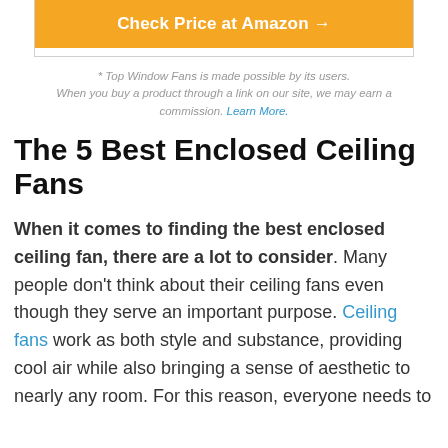[Figure (other): Orange button with text 'Check Price at Amazon →' inside a bordered box]
* Top Window Fans is made possible by its users. When you buy a product through a link on our site, we may earn a commission. Learn More.
The 5 Best Enclosed Ceiling Fans
When it comes to finding the best enclosed ceiling fan, there are a lot to consider. Many people don't think about their ceiling fans even though they serve an important purpose. Ceiling fans work as both style and substance, providing cool air while also bringing a sense of aesthetic to nearly any room. For this reason, everyone needs to